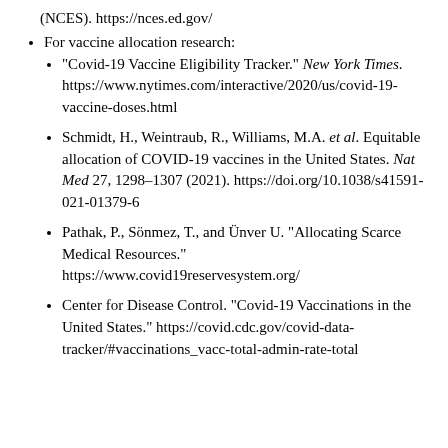(NCES). https://nces.ed.gov/
For vaccine allocation research:
"Covid-19 Vaccine Eligibility Tracker." New York Times. https://www.nytimes.com/interactive/2020/us/covid-19-vaccine-doses.html
Schmidt, H., Weintraub, R., Williams, M.A. et al. Equitable allocation of COVID-19 vaccines in the United States. Nat Med 27, 1298–1307 (2021). https://doi.org/10.1038/s41591-021-01379-6
Pathak, P., Sönmez, T., and Ünver U. "Allocating Scarce Medical Resources." https://www.covid19reservesystem.org/
Center for Disease Control. "Covid-19 Vaccinations in the United States." https://covid.cdc.gov/covid-data-tracker/#vaccinations_vacc-total-admin-rate-total